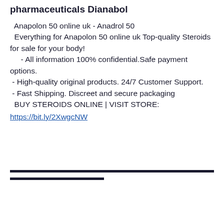pharmaceuticals Dianabol
Anapolon 50 online uk - Anadrol 50
  Everything for Anapolon 50 online uk Top-quality Steroids for sale for your body!
     - All information 100% confidential.Safe payment options.
 - High-quality original products. 24/7 Customer Support.
 - Fast Shipping. Discreet and secure packaging
  BUY STEROIDS ONLINE | VISIT STORE:
https://bit.ly/2XwgcNW